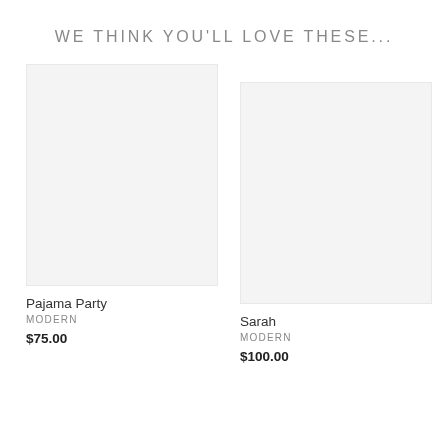WE THINK YOU'LL LOVE THESE...
[Figure (photo): Product image placeholder for Pajama Party (light gray background)]
Pajama Party
MODERN
$75.00
[Figure (photo): Product image placeholder for Sarah (light gray background)]
Sarah
MODERN
$100.00